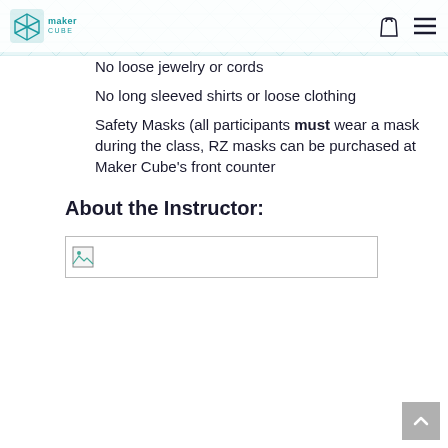maker CUBE
No loose jewelry or cords
No long sleeved shirts or loose clothing
Safety Masks (all participants must wear a mask during the class, RZ masks can be purchased at Maker Cube’s front counter
About the Instructor:
[Figure (photo): Broken image placeholder for instructor photo]